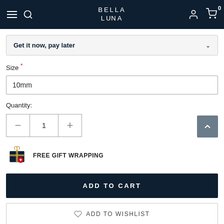BELLA LUNA
Get it now, pay later
Size *
10mm
Quantity:
FREE GIFT WRAPPING
ADD TO CART
ADD TO WISHLIST